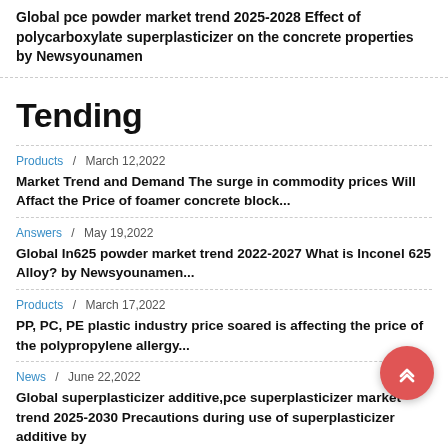Global pce powder market trend 2025-2028 Effect of polycarboxylate superplasticizer on the concrete properties by Newsyounamen
Tending
Products / March 12,2022
Market Trend and Demand The surge in commodity prices Will Affact the Price of foamer concrete block...
Answers / May 19,2022
Global In625 powder market trend 2022-2027 What is Inconel 625 Alloy? by Newsyounamen...
Products / March 17,2022
PP, PC, PE plastic industry price soared is affecting the price of the polypropylene allergy...
News / June 22,2022
Global superplasticizer additive,pce superplasticizer market trend 2025-2030 Precautions during use of superplasticizer additive by